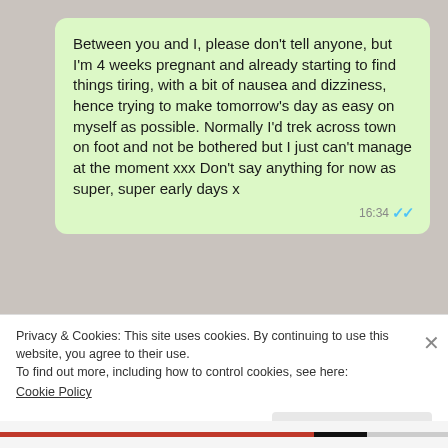[Figure (screenshot): WhatsApp chat message bubble (green) with text: 'Between you and I, please don't tell anyone, but I'm 4 weeks pregnant and already starting to find things tiring, with a bit of nausea and dizziness, hence trying to make tomorrow's day as easy on myself as possible. Normally I'd trek across town on foot and not be bothered but I just can't manage at the moment xxx Don't say anything for now as super, super early days x' with timestamp 16:34 and double blue tick]
Privacy & Cookies: This site uses cookies. By continuing to use this website, you agree to their use.
To find out more, including how to control cookies, see here:
Cookie Policy
Close and accept